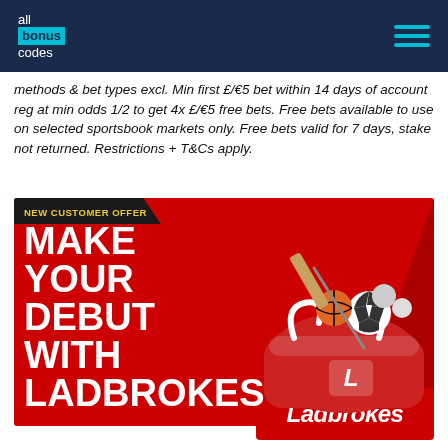all bonus codes
methods & bet types excl. Min first £/€5 bet within 14 days of account reg at min odds 1/2 to get 4x £/€5 free bets. Free bets available to use on selected sportsbook markets only. Free bets valid for 7 days, stake not returned. Restrictions + T&Cs apply.
[Figure (illustration): Ladbrokes new customer offer banner. Red background with 'NEW CUSTOMER OFFER' label in yellow on dark diagonal bar. Large white bold text reads 'MAKE YOUR DEBUT WITH LADBROKES'. Right side shows a red sports bag overflowing with sports balls (soccer, basketball, tennis, cricket, golf).]
[Figure (logo): Ladbrokes logo - white italic text on red rectangle background]